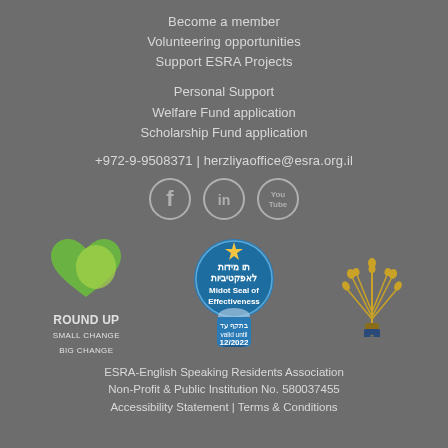Become a member
Volunteering opportunities
Support ESRA Projects
Personal Support
Welfare Fund application
Scholarship Fund application
+972-9-9508371 | herzliyaoffice@esra.org.il
[Figure (logo): Social media icons: Facebook, LinkedIn, YouTube]
[Figure (logo): Round Up Small Change Big Change logo - green heart shape]
[Figure (logo): Midot Seal of Effectiveness badge, valid until 12/2022]
[Figure (logo): Israeli government emblem with wheat/menorah]
ESRA-English Speaking Residents Association
Non-Profit & Public Institution No. 580037455
Accessibility Statement | Terms & Conditions